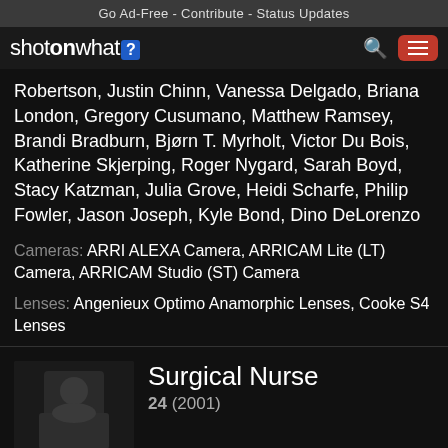Go Ad-Free - Contribute - Status Updates
shotonwhat?
Robertson, Justin Chinn, Vanessa Delgado, Briana London, Gregory Cusumano, Matthew Ramsey, Brandi Bradburn, Bjørn T. Myrholt, Victor Du Bois, Katherine Skjerping, Roger Nygard, Sarah Boyd, Stacy Katzman, Julia Grove, Heidi Scharfe, Philip Fowler, Jason Joseph, Kyle Bond, Dino DeLorenzo
Cameras: ARRI ALEXA Camera, ARRICAM Lite (LT) Camera, ARRICAM Studio (ST) Camera
Lenses: Angenieux Optimo Anamorphic Lenses, Cooke S4 Lenses
Surgical Nurse
24 (2001)